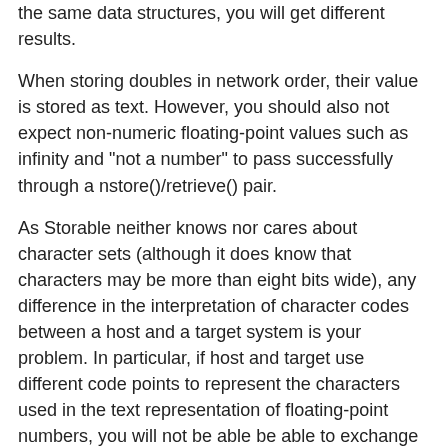the same data structures, you will get different results.
When storing doubles in network order, their value is stored as text. However, you should also not expect non-numeric floating-point values such as infinity and "not a number" to pass successfully through a nstore()/retrieve() pair.
As Storable neither knows nor cares about character sets (although it does know that characters may be more than eight bits wide), any difference in the interpretation of character codes between a host and a target system is your problem. In particular, if host and target use different code points to represent the characters used in the text representation of floating-point numbers, you will not be able be able to exchange floating-point data, even with nstore().
Storable::drop_utf8 is a blunt tool. There is no facility either to return all strings as utf8 sequences, or to attempt to convert utf8 data back to 8 bit and croak() if the conversion fails.